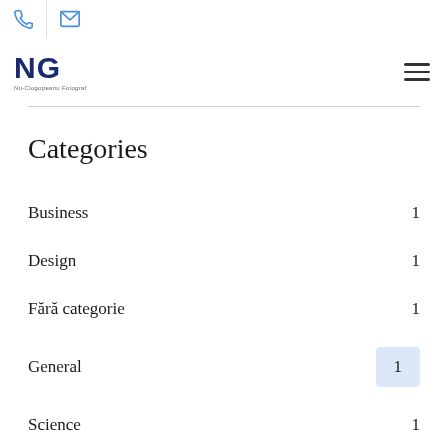[Figure (logo): NG logo with text Nu-Ciogopeanu Fotograf]
Categories
Business 1
Design 1
Fără categorie 1
General 1
Science 1